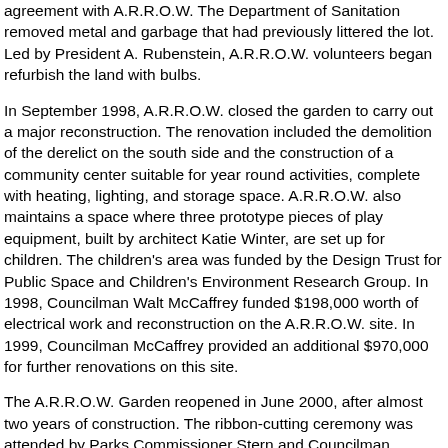agreement with A.R.R.O.W. The Department of Sanitation removed metal and garbage that had previously littered the lot. Led by President A. Rubenstein, A.R.R.O.W. volunteers began refurbish the land with bulbs.
In September 1998, A.R.R.O.W. closed the garden to carry out a major reconstruction. The renovation included the demolition of the derelict on the south side and the construction of a community center suitable for year round activities, complete with heating, lighting, and storage space. A.R.R.O.W. also maintains a space where three prototype pieces of play equipment, built by architect Katie Winter, are set up for children. The children's area was funded by the Design Trust for Public Space and Children's Environment Research Group. In 1998, Councilman Walt McCaffrey funded $198,000 worth of electrical work and reconstruction on the A.R.R.O.W. site. In 1999, Councilman McCaffrey provided an additional $970,000 for further renovations on this site.
The A.R.R.O.W. Garden reopened in June 2000, after almost two years of construction. The ribbon-cutting ceremony was attended by Parks Commissioner Stern and Councilman McCaffrey, among others. The garden is characterized by an open green area, herb and vegetable gardens, mature Ailanthus trees and the multi-purpose community center space. The A.R.R.O.W. community center and garden not only provides Astoria residents with a recreational facility but also lends its space to the Latin-American Cultural Center of Queens and other community organizations.